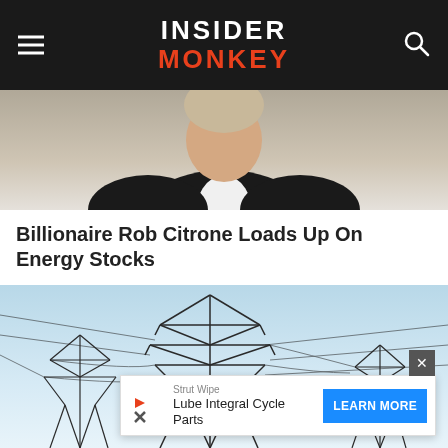INSIDER MONKEY
[Figure (photo): Top portion of a person in a tuxedo with bow tie, light-colored hair, cropped at top of frame]
Billionaire Rob Citrone Loads Up On Energy Stocks
[Figure (photo): Electric power transmission towers/pylons against a blue sky with power lines]
Strut Wipe — Lube Integral Cycle Parts — LEARN MORE (advertisement overlay)